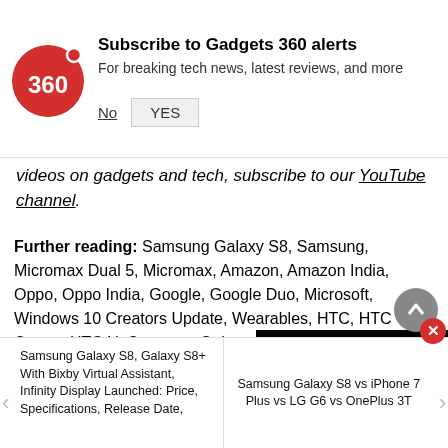[Figure (logo): Gadgets 360 red circle logo with '360' text]
Subscribe to Gadgets 360 alerts
For breaking tech news, latest reviews, and more
No   YES
videos on gadgets and tech, subscribe to our YouTube channel.
Further reading: Samsung Galaxy S8, Samsung, Micromax Dual 5, Micromax, Amazon, Amazon India, Oppo, Oppo India, Google, Google Duo, Microsoft, Windows 10 Creators Update, Wearables, HTC, HTC Ocean, HTC U, Samsung Gala…
[Figure (screenshot): Social sharing icons: WhatsApp (green), Facebook (blue), Twitter (light blue)]
[Figure (screenshot): Video player overlay with red play button on black background]
Samsung Galaxy S8, Galaxy S8+ With Bixby Virtual Assistant, Infinity Display Launched: Price, Specifications, Release Date,
Samsung Galaxy S8 vs iPhone 7 Plus vs LG G6 vs OnePlus 3T